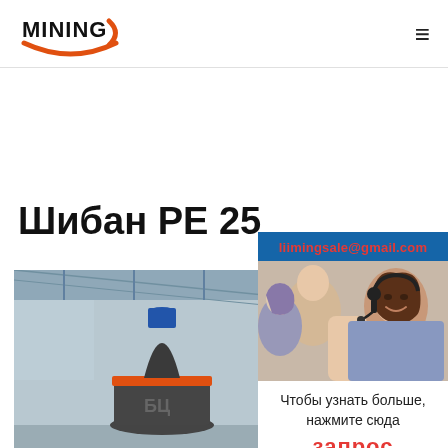[Figure (logo): Mining company logo with orange swoosh and bold black MINING text]
[Figure (photo): Industrial cone crusher / mill equipment in a factory/warehouse setting]
Шибан PE 25
[Figure (photo): Customer service representative with headset smiling, with others in background]
liimingsale@gmail.com
Чтобы узнать больше, нажмите сюда
запрос